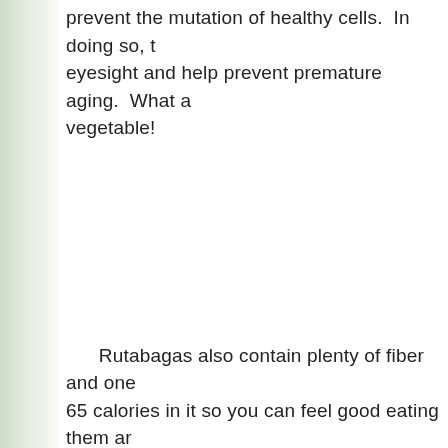prevent the mutation of healthy cells.  In doing so, they protect eyesight and help prevent premature aging.  What a vegetable!
[Figure (photo): A blurred background image visible on the left side of the page, showing an outdoor or nature scene.]
Rutabagas also contain plenty of fiber and one 65 calories in it so you can feel good eating them and high in potassium and really low in sodium, it can he